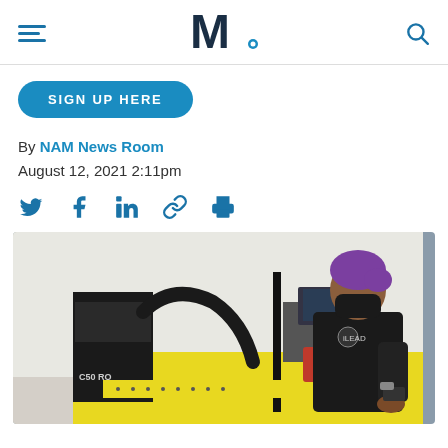NAM (National Association of Manufacturers) website header with hamburger menu, logo, and search icon
SIGN UP HERE
By NAM News Room
August 12, 2021 2:11pm
[Figure (other): Social sharing icons: Twitter, Facebook, LinkedIn, link, print]
[Figure (photo): A woman with purple hair wearing a black face mask and black polo shirt with iLEAD logo, operating industrial CNC or laser cutting equipment on a yellow surface in a manufacturing facility]